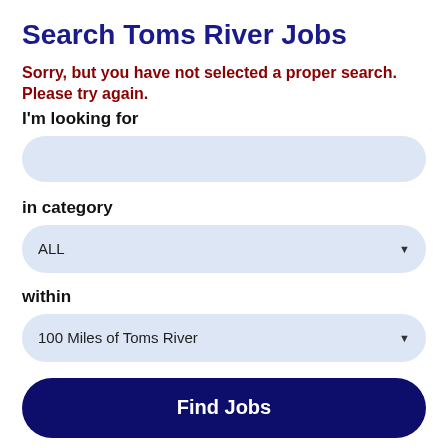Search Toms River Jobs
Sorry, but you have not selected a proper search. Please try again.
I'm looking for
in category
ALL
within
100 Miles of Toms River
Find Jobs
Browse Toms River Jobs by Industry